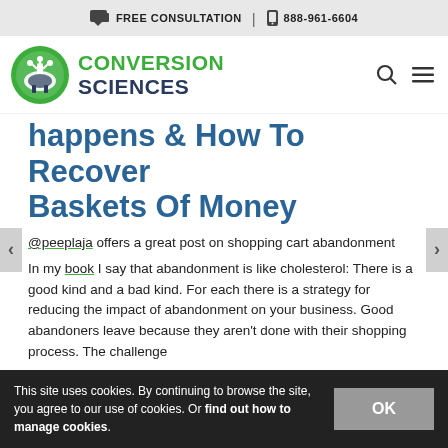FREE CONSULTATION | 888-961-6604
[Figure (logo): Conversion Sciences logo — green circle with antenna icon and green/dark blue text]
Happens & How To Recover Baskets Of Money
@peeplaja offers a great post on shopping cart abandonment
In my book I say that abandonment is like cholesterol: There is a good kind and a bad kind. For each there is a strategy for reducing the impact of abandonment on your business. Good abandoners leave because they aren't done with their shopping process. The challenge
This site uses cookies. By continuing to browse the site, you agree to our use of cookies. Or find out how to manage cookies.